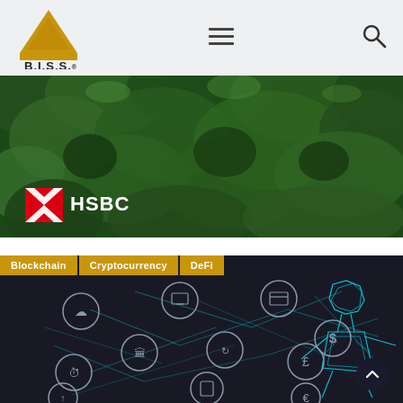B.I.S.S. Research Ltd - navigation header with logo, hamburger menu, and search icon
[Figure (photo): Aerial view of dense green forest canopy with HSBC logo and brand name in the lower left]
[Figure (photo): Dark background blockchain network diagram with glowing teal geometric human figure, showing interconnected icons for various financial and technology services, with tag labels: Blockchain, Cryptocurrency, DeFi]